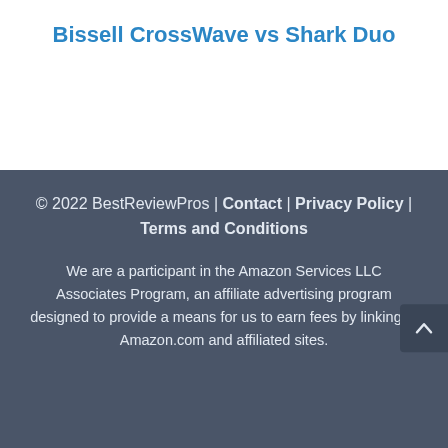Bissell CrossWave vs Shark Duo
© 2022 BestReviewPros | Contact | Privacy Policy | Terms and Conditions
We are a participant in the Amazon Services LLC Associates Program, an affiliate advertising program designed to provide a means for us to earn fees by linking to Amazon.com and affiliated sites.